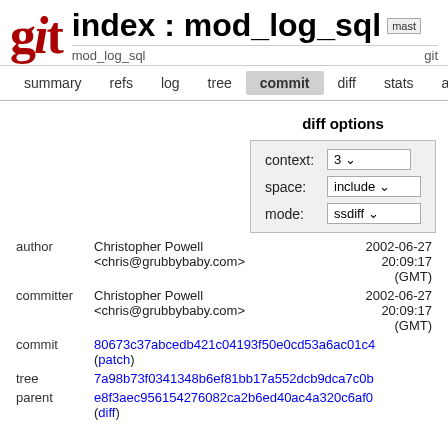Git index : mod_log_sql master
mod_log_sql   git
summary   refs   log   tree   commit   diff   stats   about
diff options
context: 3
space: include
mode: ssdiff
|  |  |  |
| --- | --- | --- |
| author | Christopher Powell <chris@grubbybaby.com> | 2002-06-27 20:09:17 (GMT) |
| committer | Christopher Powell <chris@grubbybaby.com> | 2002-06-27 20:09:17 (GMT) |
| commit | 80673c37abcedb421c04193f50e0cd53a6ac01c4 (patch) |  |
| tree | 7a98b73f0341348b6ef81bb17a552dcb9dca7c0b |  |
| parent | e8f3aec956154276082ca2b6ed40ac4a320c6af0 (diff) |  |